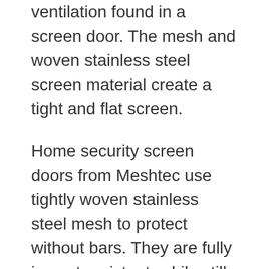ventilation found in a screen door. The mesh and woven stainless steel screen material create a tight and flat screen.
Home security screen doors from Meshtec use tightly woven stainless steel mesh to protect without bars. They are fully impact-resistant, while still allowing ample light into the home. These doors come in popular sizes and colors, with optional accessories. When choosing a MeshTec security screen door, it is important to remember that a monitored security system can provide around-the-clock protection. The benefits are many, but Meshtec security screen